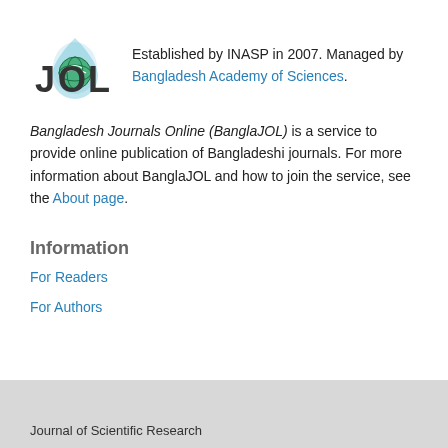[Figure (logo): BanglaJOL logo — stylized letters J, O, L with a water drop containing a green globe icon]
Established by INASP in 2007. Managed by Bangladesh Academy of Sciences.
Bangladesh Journals Online (BanglaJOL) is a service to provide online publication of Bangladeshi journals. For more information about BanglaJOL and how to join the service, see the About page.
Information
For Readers
For Authors
Journal of Scientific Research